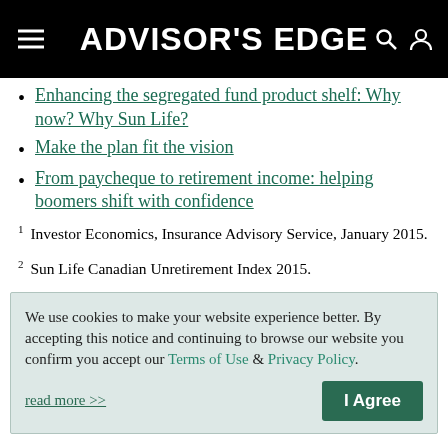ADVISOR'S EDGE
Enhancing the segregated fund product shelf: Why now? Why Sun Life?
Make the plan fit the vision
From paycheque to retirement income: helping boomers shift with confidence
1 Investor Economics, Insurance Advisory Service, January 2015.
2 Sun Life Canadian Unretirement Index 2015.
We use cookies to make your website experience better. By accepting this notice and continuing to browse our website you confirm you accept our Terms of Use & Privacy Policy.
read more >>
I Agree